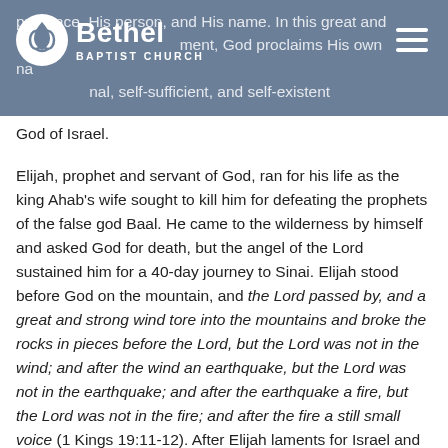Bethel Baptist Church — navigation header with logo
presence, His person, and His name. In this great and solemn moment, God proclaims His own name — the eternal, self-sufficient, and self-existent God of Israel.
Elijah, prophet and servant of God, ran for his life as the king Ahab's wife sought to kill him for defeating the prophets of the false god Baal. He came to the wilderness by himself and asked God for death, but the angel of the Lord sustained him for a 40-day journey to Sinai. Elijah stood before God on the mountain, and the Lord passed by, and a great and strong wind tore into the mountains and broke the rocks in pieces before the Lord, but the Lord was not in the wind; and after the wind an earthquake, but the Lord was not in the earthquake; and after the earthquake a fire, but the Lord was not in the fire; and after the fire a still small voice (1 Kings 19:11-12). After Elijah laments for Israel and his own life, God reveals Himself to Elijah in a low whisper. On the same mount which God descended in a cloud before Moses, He reveals Himself